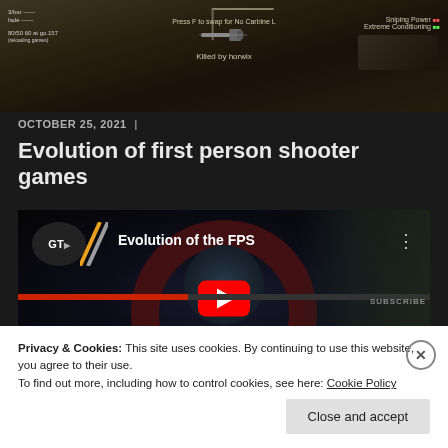[Figure (screenshot): First-person shooter game screenshot showing a weapon, HUD elements including 'Killed by horwix', 'Sniping Power', 'Extreme Conditioning' text overlays]
OCTOBER 25, 2021  |
Evolution of first person shooter games
[Figure (screenshot): YouTube video embed thumbnail showing 'GT Evolution of the FPS' with a dark tunnel/archway scene and YouTube play button]
Privacy & Cookies: This site uses cookies. By continuing to use this website, you agree to their use.
To find out more, including how to control cookies, see here: Cookie Policy
Close and accept